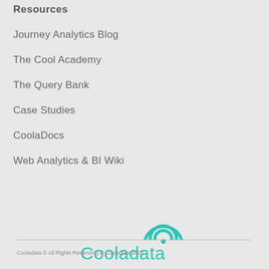Resources
Journey Analytics Blog
The Cool Academy
The Query Bank
Case Studies
CoolaDocs
Web Analytics & BI Wiki
[Figure (logo): Cooladata logo — teal/turquoise text 'Cooladata' with stylized wifi/arc signal icon above the letter d]
Cooladata © All Rights Reserved | © Cooladata 2020